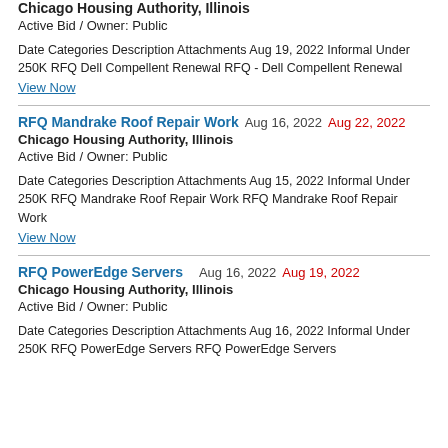Chicago Housing Authority, Illinois
Active Bid / Owner: Public
Date Categories Description Attachments Aug 19, 2022 Informal Under 250K RFQ Dell Compellent Renewal RFQ - Dell Compellent Renewal
View Now
RFQ Mandrake Roof Repair Work   Aug 16, 2022   Aug 22, 2022
Chicago Housing Authority, Illinois
Active Bid / Owner: Public
Date Categories Description Attachments Aug 15, 2022 Informal Under 250K RFQ Mandrake Roof Repair Work RFQ Mandrake Roof Repair Work
View Now
RFQ PowerEdge Servers   Aug 16, 2022   Aug 19, 2022
Chicago Housing Authority, Illinois
Active Bid / Owner: Public
Date Categories Description Attachments Aug 16, 2022 Informal Under 250K RFQ PowerEdge Servers RFQ PowerEdge Servers